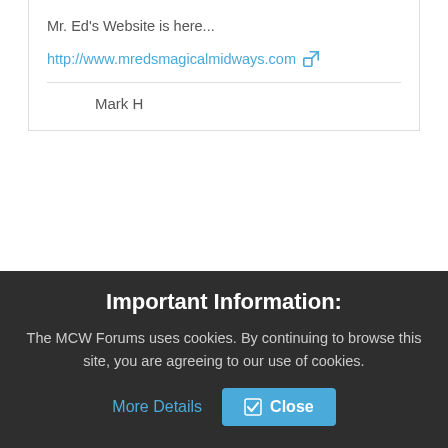Mr. Ed's Website is here...
http://www.mredsmagicalmidways.com
Mark H
Trucker090
Ride Supervisor
Sunday, August 5, 2007 7:59:31 PM
#2
Important Information:
The MCW Forums uses cookies. By continuing to browse this site, you are agreeing to our use of cookies.
More Details
Close